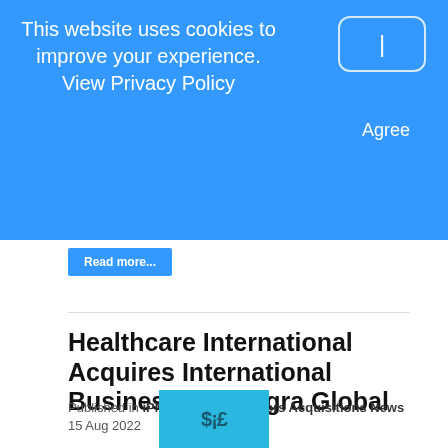This website uses cookies to improve your experience. View Privacy Policy
I
Agree
Read more...
Healthcare International Acquires International Business Of Integra Global
Published in iPMI Magazine Mergers Acquisitions News
15 Aug 2022
[Figure (logo): Partial logo image in cyan/teal color at bottom of page]